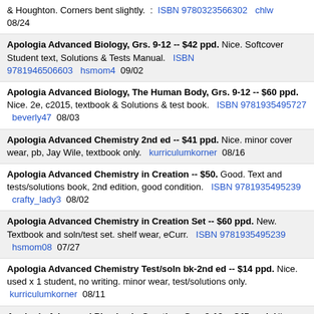& Houghton. Corners bent slightly.  :  ISBN 9780323566302   chlw  08/24
Apologia Advanced Biology, Grs. 9-12 -- $42 ppd. Nice. Softcover Student text, Solutions & Tests Manual.   ISBN 9781946506603   hsmom4  09/02
Apologia Advanced Biology, The Human Body, Grs. 9-12 -- $60 ppd. Nice. 2e, c2015, textbook & Solutions & test book.   ISBN 9781935495727   beverly47  08/03
Apologia Advanced Chemistry 2nd ed -- $41 ppd. Nice. minor cover wear, pb, Jay Wile, textbook only.   kurriculumkorner  08/16
Apologia Advanced Chemistry in Creation -- $50. Good. Text and tests/solutions book, 2nd edition, good condition.   ISBN 9781935495239   crafty_lady3  08/02
Apologia Advanced Chemistry in Creation Set -- $60 ppd. New. Textbook and soln/test set. shelf wear, eCurr.   ISBN 9781935495239   hsmom08  07/27
Apologia Advanced Chemistry Test/soln bk-2nd ed -- $14 ppd. Nice. used x 1 student, no writing. minor wear, test/solutions only.  kurriculumkorner  08/11
Apologia Advanced Physics in Creation, Grs. 9-12 -- $45 ppd. Nice.   ISBN 9781932012187  [more]  brown_st._books  08/30
Apologia Advanced Physics In Creation -- $40. Nice. Includes solution and TEST KEY Like New- writing on first page.   ISBN 9781932012187   abby_zettlemoyer  07/11
Apologia American LIterature, Grs. 9-12 -- $25 ppd. New. Textbook.   ISBN 9781940110318   kmb77  08/02